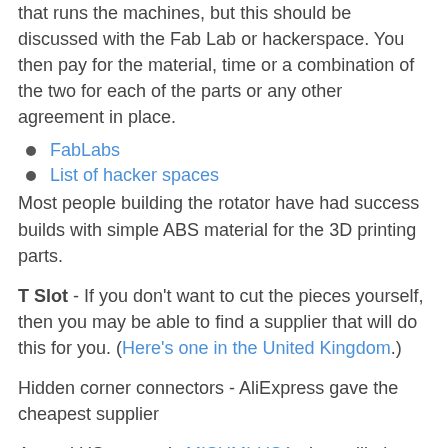that runs the machines, but this should be discussed with the Fab Lab or hackerspace. You then pay for the material, time or a combination of the two for each of the parts or any other agreement in place.
FabLabs
List of hacker spaces
Most people building the rotator have had success builds with simple ABS material for the 3D printing parts.
T Slot - If you don't want to cut the pieces yourself, then you may be able to find a supplier that will do this for you. (Here's one in the United Kingdom.)
Hidden corner connectors - AliExpress gave the cheapest supplier
A good US source is MISUMI-USA; they will also cut to length. MISUMI has several other global locations [2].
Beware, the 20-series T-slot from 80/20 Inc. in the US has slots that are only 5.2mm wide. The hidden corner connectors from e.g. AliExpress will not fit.
Stepper Motors - eBay